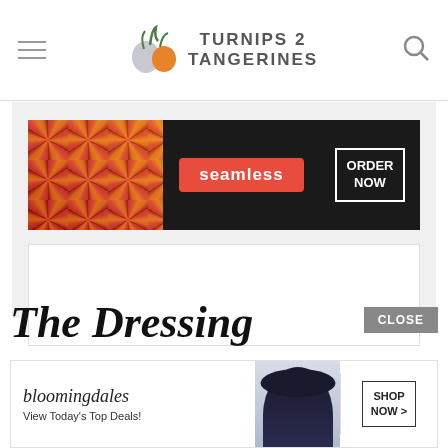Turnips 2 Tangerines
[Figure (screenshot): Seamless food delivery advertisement with pizza image, Seamless logo in red, and ORDER NOW button]
[Figure (screenshot): Amazon ad: 37 ITEMS PEOPLE LOVE TO PURCHASE ON AMAZON with blue spray bottles and 22 Words badge]
The Dressing
[Figure (screenshot): Bloomingdale's advertisement with script logo, View Today's Top Deals! text, model with hat, and SHOP NOW button]